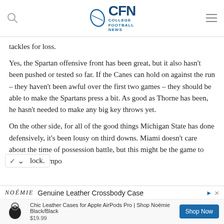CFN College Football News
tackles for loss.
Yes, the Spartan offensive front has been great, but it also hasn't been pushed or tested so far. If the Canes can hold on against the run – they haven't been awful over the first two games – they should be able to make the Spartans press a bit. As good as Thorne has been, he hasn't needed to make any big key throws yet.
On the other side, for all of the good things Michigan State has done defensively, it's been lousy on third downs. Miami doesn't care about the time of possession battle, but this might be the game to control the tempo lock.
[Figure (screenshot): Advertisement banner for Noémie Genuine Leather Crossbody Case and AirPods Pro case]